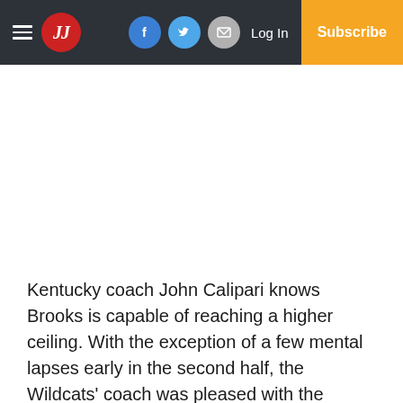JJ — Log In | Subscribe
Kentucky coach John Calipari knows Brooks is capable of reaching a higher ceiling. With the exception of a few mental lapses early in the second half, the Wildcats' coach was pleased with the